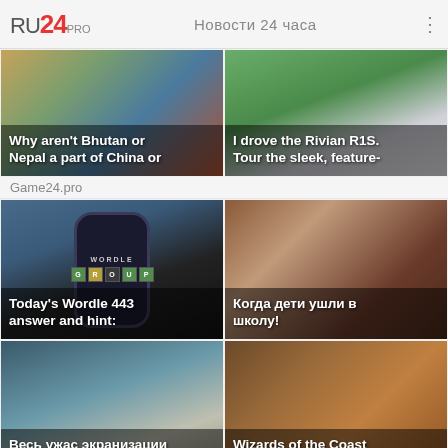RU24 PRO   Новости 24 часа
[Figure (screenshot): News card: map/flag image with text overlay 'Why aren't Bhutan or Nepal a part of China or']
[Figure (screenshot): News card: Rivian R1S car photo with text overlay 'I drove the Rivian R1S. Tour the sleek, feature-']
Game24.pro
[Figure (screenshot): News card: Wordle game on phone with text overlay 'Today's Wordle 443 answer and hint:']
[Figure (screenshot): News card: illustrated characters with text overlay 'Когда дети ушли в школу!']
[Figure (screenshot): News card: morgue/hospital scene with text overlay 'Весь ужас экранизации сверхъестественного']
[Figure (screenshot): News card: fantasy characters/wizards with text overlay 'Wizards of the Coast apologizes for and']
ADWILE  +